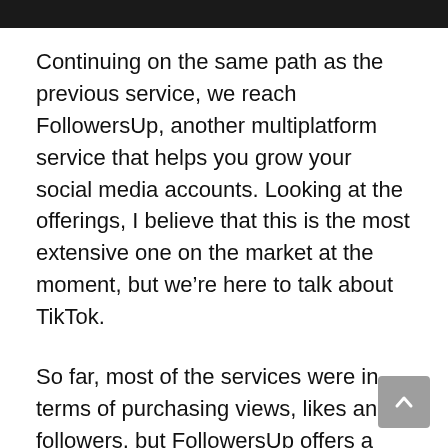Continuing on the same path as the previous service, we reach FollowersUp, another multiplatform service that helps you grow your social media accounts. Looking at the offerings, I believe that this is the most extensive one on the market at the moment, but we’re here to talk about TikTok.
So far, most of the services were in terms of purchasing views, likes and followers, but FollowersUp offers a few more. On top of the standard 3, there are also comments